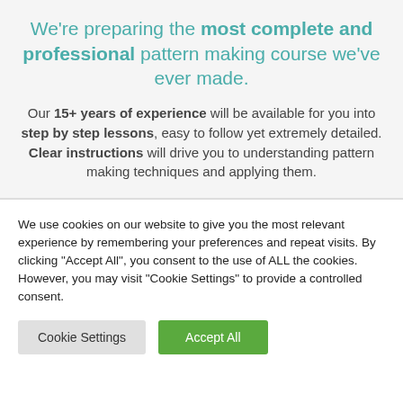We're preparing the most complete and professional pattern making course we've ever made.
Our 15+ years of experience will be available for you into step by step lessons, easy to follow yet extremely detailed. Clear instructions will drive you to understanding pattern making techniques and applying them.
We use cookies on our website to give you the most relevant experience by remembering your preferences and repeat visits. By clicking "Accept All", you consent to the use of ALL the cookies. However, you may visit "Cookie Settings" to provide a controlled consent.